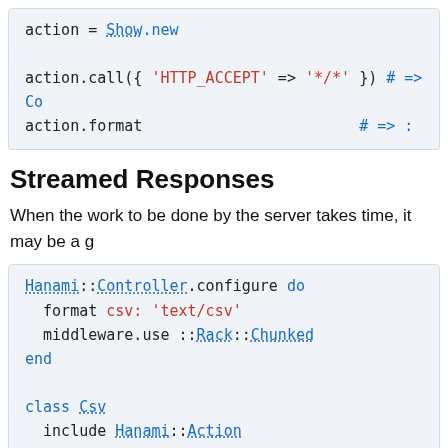[Figure (screenshot): Code block showing: action = Show.new followed by action.call({'HTTP_ACCEPT' => '*/*'}) # => Co and action.format # => :]
Streamed Responses
When the work to be done by the server takes time, it may be a g
[Figure (screenshot): Code block showing Hanami::Controller.configure do block with format csv: 'text/csv', middleware.use ::Rack::Chunked, end. Then class Csv include Hanami::Action, def call(params), self.format = :csv, self.body = Enumerator.new do |yielder|, yielder << csv_header, # Expensive operation is streamed as each]